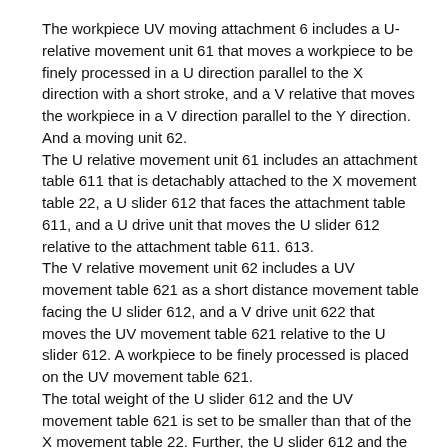The workpiece UV moving attachment 6 includes a U-relative movement unit 61 that moves a workpiece to be finely processed in a U direction parallel to the X direction with a short stroke, and a V relative that moves the workpiece in a V direction parallel to the Y direction. And a moving unit 62.
The U relative movement unit 61 includes an attachment table 611 that is detachably attached to the X movement table 22, a U slider 612 that faces the attachment table 611, and a U drive unit that moves the U slider 612 relative to the attachment table 611. 613.
The V relative movement unit 62 includes a UV movement table 621 as a short distance movement table facing the U slider 612, and a V drive unit 622 that moves the UV movement table 621 relative to the U slider 612. A workpiece to be finely processed is placed on the UV movement table 621.
The total weight of the U slider 612 and the UV movement table 621 is set to be smaller than that of the X movement table 22. Further, the U slider 612 and the UV movement table 621 are formed smaller than the X movement table 22.
In addition, the total weight to the movement by the X